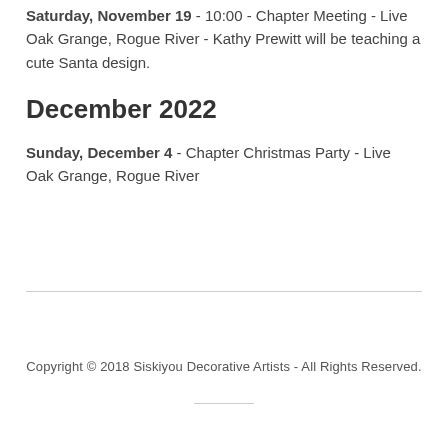Saturday, November 19 - 10:00 - Chapter Meeting - Live Oak Grange, Rogue River - Kathy Prewitt will be teaching a cute Santa design.
December 2022
Sunday, December 4 - Chapter Christmas Party - Live Oak Grange, Rogue River
Copyright © 2018 Siskiyou Decorative Artists - All Rights Reserved.